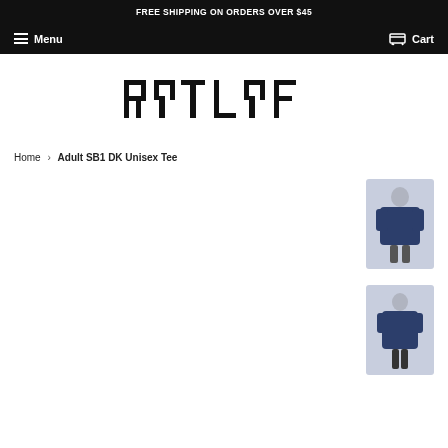FREE SHIPPING ON ORDERS OVER $45
Menu  Cart
[Figure (logo): RYTLYF brand logo in bold black geometric font]
Home › Adult SB1 DK Unisex Tee
[Figure (photo): Navy blue unisex t-shirt worn by male model, front view thumbnail]
[Figure (photo): Navy blue unisex t-shirt worn by female model, front view thumbnail]